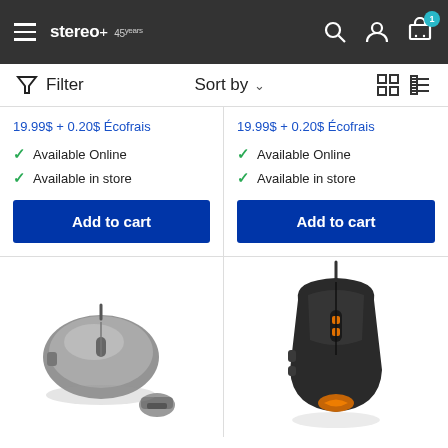stereo+ 45years — navigation header with hamburger menu, search, account, and cart icons
Filter   Sort by ∨   grid/list view icons
19.99$ + 0.20$ Écofrais
Available Online
Available in store
Add to cart
19.99$ + 0.20$ Écofrais
Available Online
Available in store
Add to cart
[Figure (photo): Wireless computer mouse (black/silver) with USB nano receiver dongle]
[Figure (photo): Wired gaming mouse (black) with orange LED lighting and brand logo on base]